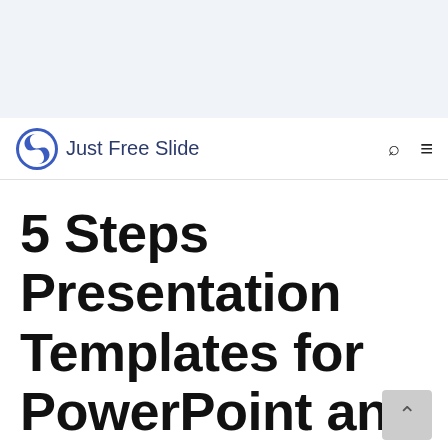[Figure (logo): Top light blue banner area]
Just Free Slide
5 Steps Presentation Templates for PowerPoint and